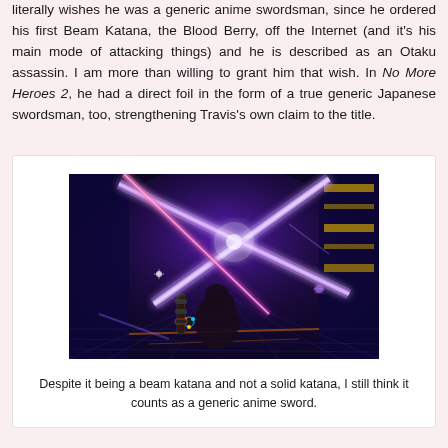literally wishes he was a generic anime swordsman, since he ordered his first Beam Katana, the Blood Berry, off the Internet (and it's his main mode of attacking things) and he is described as an Otaku assassin. I am more than willing to grant him that wish. In No More Heroes 2, he had a direct foil in the form of a true generic Japanese swordsman, too, strengthening Travis's own claim to the title.
[Figure (screenshot): Screenshot from No More Heroes video game showing a character wielding a beam katana with bright purple and pink light effects crossing in an X shape against a dark arena background.]
Despite it being a beam katana and not a solid katana, I still think it counts as a generic anime sword.